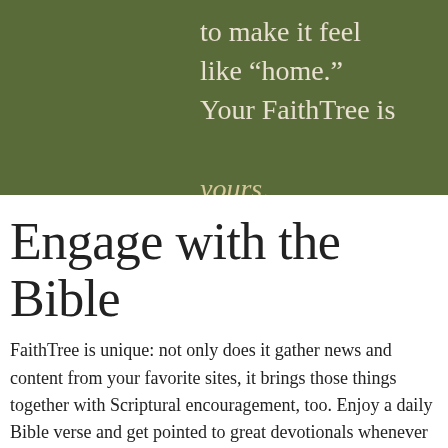to make it feel like “home.” Your FaithTree is yours.
Engage with the Bible
FaithTree is unique: not only does it gather news and content from your favorite sites, it brings those things together with Scriptural encouragement, too. Enjoy a daily Bible verse and get pointed to great devotionals whenever you log on. Search the Bible and find sermons that speak to the passage you